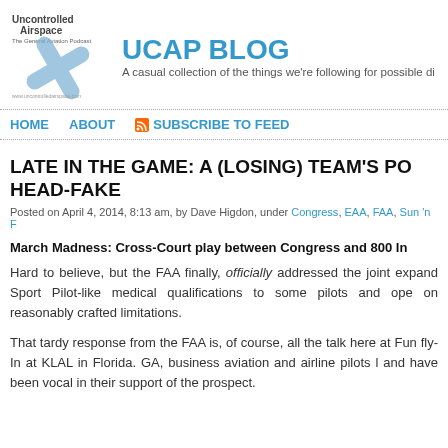[Figure (logo): Uncontrolled Airspace logo - text and crossed propeller icon with URL www.uncontrolledairspace.com]
UCAP BLOG
A casual collection of the things we're following for possible di
HOME   ABOUT   SUBSCRIBE TO FEED
LATE IN THE GAME: A (LOSING) TEAM'S PO HEAD-FAKE
Posted on April 4, 2014, 8:13 am, by Dave Higdon, under Congress, EAA, FAA, Sun 'n F
March Madness: Cross-Court play between Congress and 800 In
Hard to believe, but the FAA finally, officially addressed the joint expand Sport Pilot-like medical qualifications to some pilots and ope on reasonably crafted limitations.
That tardy response from the FAA is, of course, all the talk here at Fun fly-In at KLAL in Florida. GA, business aviation and airline pilots l and have been vocal in their support of the prospect.